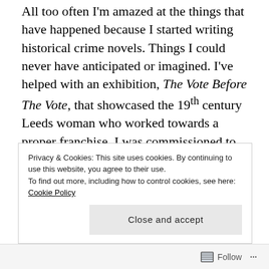All too often I'm amazed at the things that have happened because I started writing historical crime novels. Things I could never have anticipated or imagined. I've helped with an exhibition, The Vote Before The Vote, that showcased the 19th century Leeds woman who worked towards a proper franchise. I was commissioned to write a play about Dark Briggate Blues' Dan Markham by Leeds Jazz Fest, and ended up with something that included a live jazz quintet and sold out two performances. I've become the writer-in-residence for Abbey House Museum in Leeds.
Privacy & Cookies: This site uses cookies. By continuing to use this website, you agree to their use. To find out more, including how to control cookies, see here: Cookie Policy
Close and accept
Follow